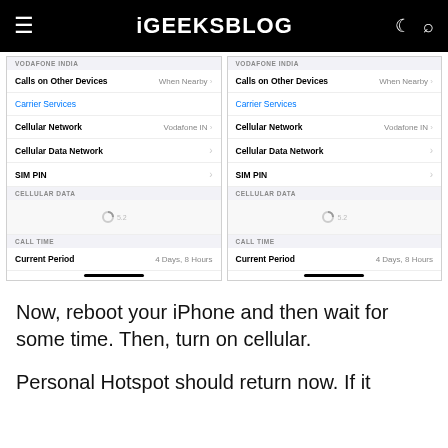iGEEKSBLOG
[Figure (screenshot): Two side-by-side iPhone screenshots showing iOS Settings > Phone menus. Both show: VODAFONE INDIA section with Calls on Other Devices (When Nearby), Carrier Services (blue link), Cellular Network (Vodafone IN), Cellular Data Network, SIM PIN. Then CELLULAR DATA section with a loading spinner. Then CALL TIME section with Current Period showing 4 Days, 8 Hours.]
Now, reboot your iPhone and then wait for some time. Then, turn on cellular.
Personal Hotspot should return now. If it